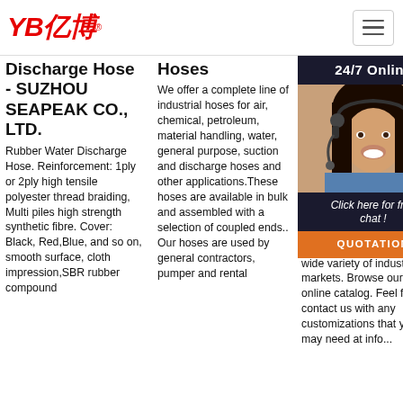YB亿博 [logo] — navigation header with hamburger menu
Discharge Hose - SUZHOU SEAPEAK CO., LTD.
Rubber Water Discharge Hose. Reinforcement: 1ply or 2ply high tensile polyester thread braiding, Multi piles high strength synthetic fibre. Cover: Black, Red,Blue, and so on, smooth surface, cloth impression,SBR rubber compound
Hoses
We offer a complete line of industrial hoses for air, chemical, petroleum, material handling, water, general purpose, suction and discharge hoses and other applications.These hoses are available in bulk and assembled with a selection of coupled ends.. Our hoses are used by general contractors, pumper and rental
Suction Hoses On...
Atla... Hyc... the Hos... bus... We pro... indu... rub... hyd... wide variety of industrial markets. Browse our online catalog. Feel free to contact us with any customizations that you may need at info...
[Figure (photo): Customer service agent photo with headset, overlaid on dark panel showing '24/7 Online', 'Click here for free chat!' and an orange QUOTATION button]